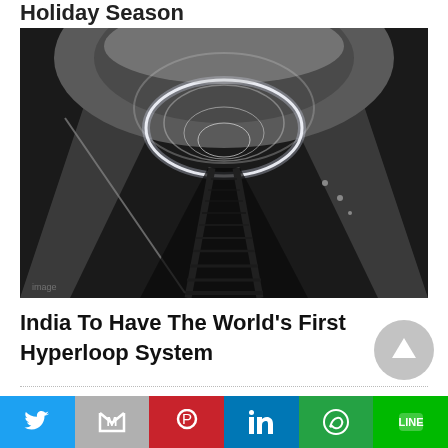Holiday Season
[Figure (photo): Interior of a hyperloop/transportation tunnel, showing a long tubular concrete tunnel with a bright circular light ring in the middle distance and rail track running along the floor, perspective view into the vanishing point.]
India To Have The World's First Hyperloop System
RECENT POSTS